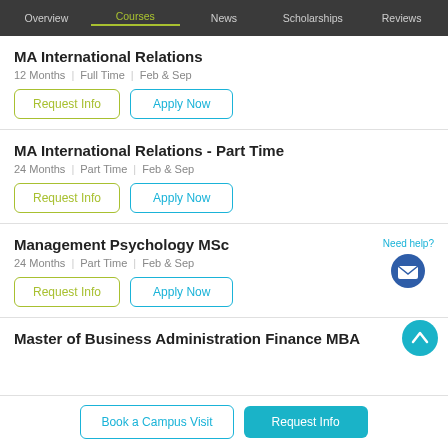Overview | Courses | News | Scholarships | Reviews
MA International Relations
12 Months | Full Time | Feb & Sep
Request Info | Apply Now
MA International Relations - Part Time
24 Months | Part Time | Feb & Sep
Request Info | Apply Now
Management Psychology MSc
24 Months | Part Time | Feb & Sep
Request Info | Apply Now
Need help?
Master of Business Administration Finance MBA
Book a Campus Visit | Request Info